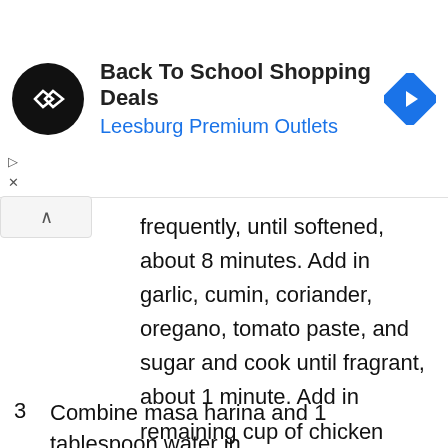[Figure (infographic): Advertisement banner: Back To School Shopping Deals at Leesburg Premium Outlets with logo and navigation icon]
frequently, until softened, about 8 minutes. Add in garlic, cumin, coriander, oregano, tomato paste, and sugar and cook until fragrant, about 1 minute. Add in remaining cup of chicken stock and scrape up any browned bits from bottom of pan with a wooden spoon. Stir in pureed chiles. Add in beef and whisk until completely broken down and mixture is homogeneous. Bring to a boil, then reduce heat to low, cover with lid slightly ajar, and simmer until thickened, about 45 to 60 minutes.
3 Combine masa harina and 1 tablespoon water in